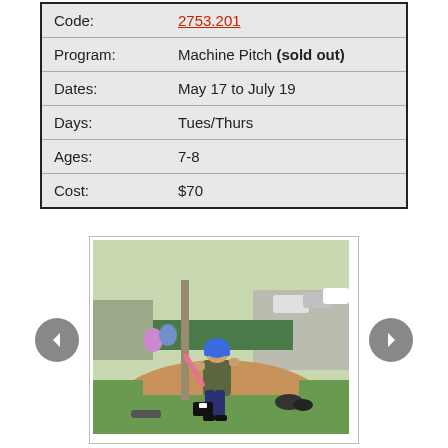| Code: | 2753.201 |
| Program: | Machine Pitch (sold out) |
| Dates: | May 17 to July 19 |
| Days: | Tues/Thurs |
| Ages: | 7-8 |
| Cost: | $70 |
[Figure (photo): A young boy wearing a blue helmet and dark clothes swinging a pink bat on a baseball field. There are spectators in the background and equipment on the ground. Navigation arrows (left and right) flank the photo.]